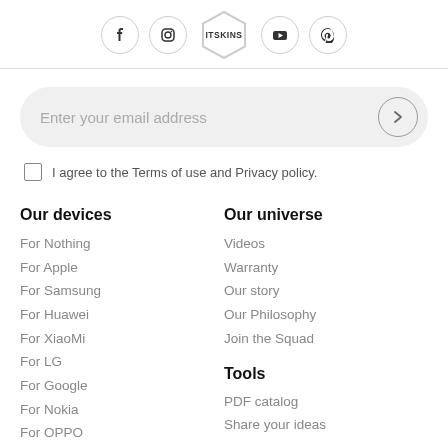[Figure (logo): Social media icons bar with Facebook, Instagram, ITSKINS logo (hexagon), YouTube, and Pinterest icons]
Enter your email address
I agree to the Terms of use and Privacy policy.
Our devices
For Nothing
For Apple
For Samsung
For Huawei
For XiaoMi
For LG
For Google
For Nokia
For OPPO
Our universe
Videos
Warranty
Our story
Our Philosophy
Join the Squad
Tools
PDF catalog
Share your ideas